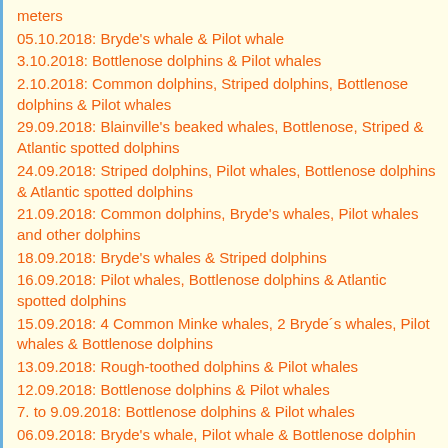meters
05.10.2018: Bryde's whale & Pilot whale
3.10.2018: Bottlenose dolphins & Pilot whales
2.10.2018: Common dolphins, Striped dolphins, Bottlenose dolphins & Pilot whales
29.09.2018: Blainville's beaked whales, Bottlenose, Striped & Atlantic spotted dolphins
24.09.2018: Striped dolphins, Pilot whales, Bottlenose dolphins & Atlantic spotted dolphins
21.09.2018: Common dolphins, Bryde's whales, Pilot whales and other dolphins
18.09.2018: Bryde's whales & Striped dolphins
16.09.2018: Pilot whales, Bottlenose dolphins & Atlantic spotted dolphins
15.09.2018: 4 Common Minke whales, 2 Bryde´s whales, Pilot whales & Bottlenose dolphins
13.09.2018: Rough-toothed dolphins & Pilot whales
12.09.2018: Bottlenose dolphins & Pilot whales
7. to 9.09.2018: Bottlenose dolphins & Pilot whales
06.09.2018: Bryde's whale, Pilot whale & Bottlenose dolphin